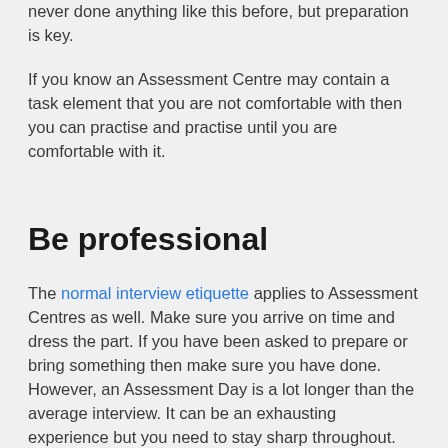never done anything like this before, but preparation is key.
If you know an Assessment Centre may contain a task element that you are not comfortable with then you can practise and practise until you are comfortable with it.
Be professional
The normal interview etiquette applies to Assessment Centres as well. Make sure you arrive on time and dress the part. If you have been asked to prepare or bring something then make sure you have done.
However, an Assessment Day is a lot longer than the average interview. It can be an exhausting experience but you need to stay sharp throughout. Eating a good lunch and drinking plenty of water is recommended. Just because you are being professional does not mean you have to be a robot.